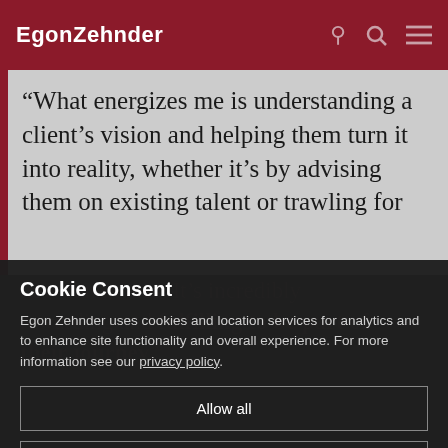EgonZehnder
“What energizes me is understanding a client’s vision and helping them turn it into reality, whether it’s by advising them on existing talent or trawling for new candidates. It’s incredibly rewarding and fulfilling to be part of their journey.”
Cookie Consent
Egon Zehnder uses cookies and location services for analytics and to enhance site functionality and overall experience. For more information see our privacy policy.
Allow all
Show details